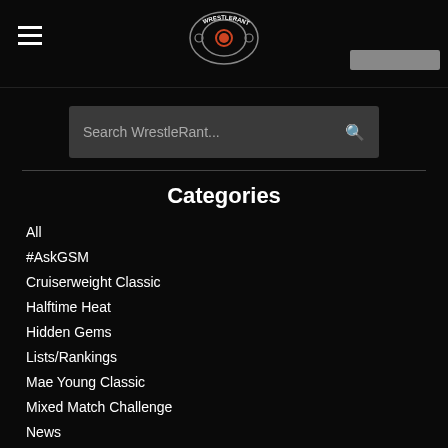WrestleRant logo and navigation
Search WrestleRant...
Categories
All
#AskGSM
Cruiserweight Classic
Halftime Heat
Hidden Gems
Lists/Rankings
Mae Young Classic
Mixed Match Challenge
News
NJPW